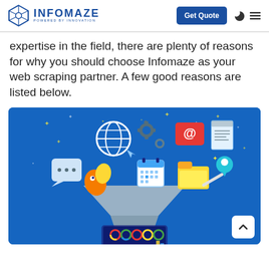INFOMAZE — POWERED BY INNOVATION | Get Quote
expertise in the field, there are plenty of reasons for why you should choose Infomaze as your web scraping partner. A few good reasons are listed below.
[Figure (illustration): Illustration of a data funnel/web scraping concept on a blue background, showing icons of a globe, gear, email, document, calendar, folder, location pin, speech bubbles, and data charts flowing into a funnel and into a computer monitor displaying analytics.]